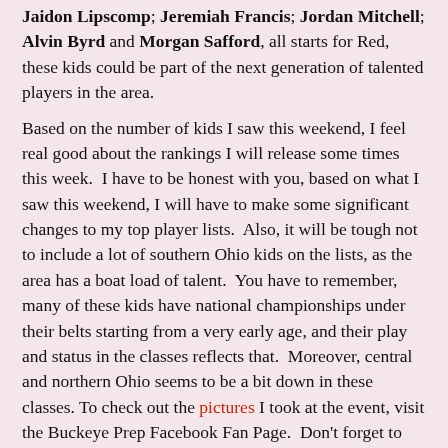Jaidon Lipscomp; Jeremiah Francis; Jordan Mitchell; Alvin Byrd and Morgan Safford, all starts for Red, these kids could be part of the next generation of talented players in the area.
Based on the number of kids I saw this weekend, I feel real good about the rankings I will release some times this week. I have to be honest with you, based on what I saw this weekend, I will have to make some significant changes to my top player lists. Also, it will be tough not to include a lot of southern Ohio kids on the lists, as the area has a boat load of talent. You have to remember, many of these kids have national championships under their belts starting from a very early age, and their play and status in the classes reflects that. Moreover, central and northern Ohio seems to be a bit down in these classes. To check out the pictures I took at the event, visit the Buckeye Prep Facebook Fan Page. Don't forget to follow us on Twitter.
Other Players
[Figure (photo): Photo of a person with dark background, partially visible, showing upper body and face.]